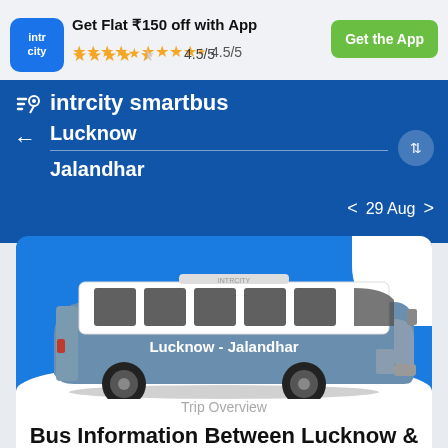[Figure (logo): IntrCity logo - blue rounded square with white text 'intr city']
Get Flat ₹150 off with App
★★★★☆ 4.5/5
Get the App
intrcity smartbus
Lucknow
Jalandhar
29 Aug
[Figure (illustration): Side view illustration of a blue and white intercity bus with 'Lucknow - Jalandhar' text on the side, on a blue background with white wave at bottom]
Trip Overview
Bus Information Between Lucknow &